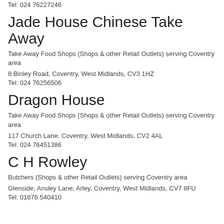Tel: 024 76227246
Jade House Chinese Take Away
Take Away Food Shops (Shops & other Retail Outlets) serving Coventry area
8 Binley Road, Coventry, West Midlands, CV3 1HZ
Tel: 024 76256506
Dragon House
Take Away Food Shops (Shops & other Retail Outlets) serving Coventry area
117 Church Lane, Coventry, West Midlands, CV2 4AL
Tel: 024 76451386
C H Rowley
Butchers (Shops & other Retail Outlets) serving Coventry area
Glenside, Ansley Lane, Arley, Coventry, West Midlands, CV7 8FU
Tel: 01676 540410